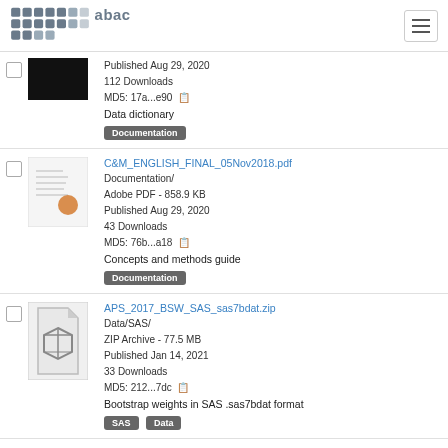abacus (logo) + hamburger menu
Published Aug 29, 2020 | 112 Downloads | MD5: 17a...e90 | Data dictionary | Documentation
C&M_ENGLISH_FINAL_05Nov2018.pdf | Documentation/ | Adobe PDF - 858.9 KB | Published Aug 29, 2020 | 43 Downloads | MD5: 76b...a18 | Concepts and methods guide | Documentation
APS_2017_BSW_SAS_sas7bdat.zip | Data/SAS/ | ZIP Archive - 77.5 MB | Published Jan 14, 2021 | 33 Downloads | MD5: 212...7dc | Bootstrap weights in SAS .sas7bdat format | SAS | Data